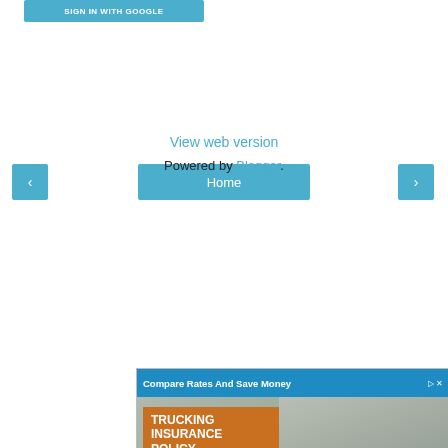[Figure (screenshot): SIGN IN WITH GOOGLE button in teal/blue color]
[Figure (screenshot): Navigation bar with left arrow, Home button, right arrow]
View web version
Powered by Blogger.
[Figure (screenshot): Advertisement: Compare Rates And Save Money - Trucking Insurance Policy - Start your quote - Get Quote button with logo]